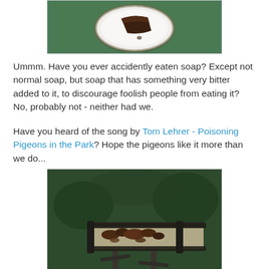[Figure (photo): A white plate with a dark ceramic border pattern, containing a piece of dark brown cake/brownie on a green background, viewed from above.]
Ummm. Have you ever accidently eaten soap? Except not normal soap, but soap that has something very bitter added to it, to discourage foolish people from eating it? No, probably not - neither had we.
Have you heard of the song by Tom Lehrer - Poisoning Pigeons in the Park? Hope the pigeons like it more than we do...
[Figure (photo): A wooden bird feeder table/platform outdoors, with crumbled dark brown food (cake/biscuit) spread on it, set against a green garden background.]